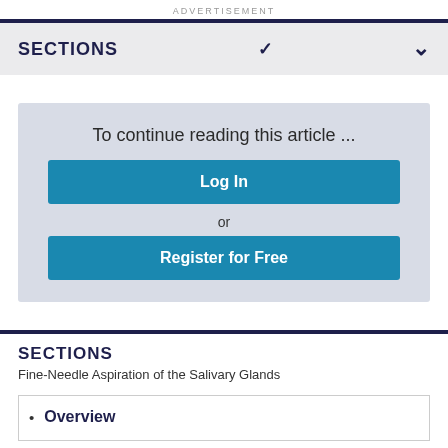ADVERTISEMENT
SECTIONS
To continue reading this article ...
Log In
or
Register for Free
SECTIONS
Fine-Needle Aspiration of the Salivary Glands
Overview